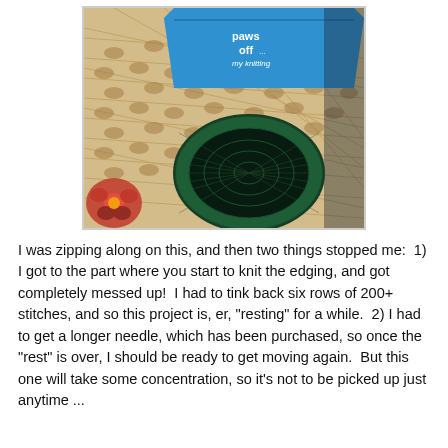[Figure (photo): Photo of a blue knitting bag labeled 'paws off my knitting' and a dark green circular knitted item, both resting on a wicker/rattan surface with a floral item visible in the lower left corner.]
I was zipping along on this, and then two things stopped me:  1) I got to the part where you start to knit the edging, and got completely messed up!  I had to tink back six rows of 200+ stitches, and so this project is, er, "resting" for a while.  2) I had to get a longer needle, which has been purchased, so once the "rest" is over, I should be ready to get moving again.  But this one will take some concentration, so it's not to be picked up just anytime ...